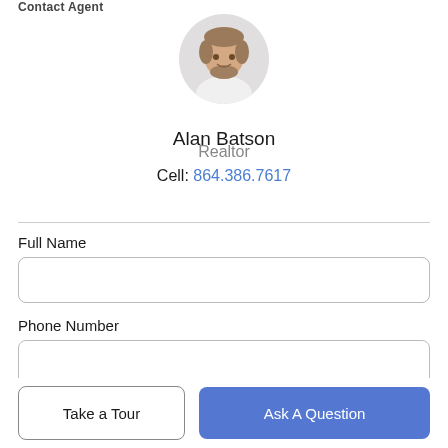Contact Agent
[Figure (photo): Circular profile photo of Alan Batson, a smiling man with short hair and beard, wearing a white shirt, against a light background.]
Alan Batson
Realtor
Cell: 864.386.7617
Full Name
Phone Number
Email Address
Take a Tour
Ask A Question